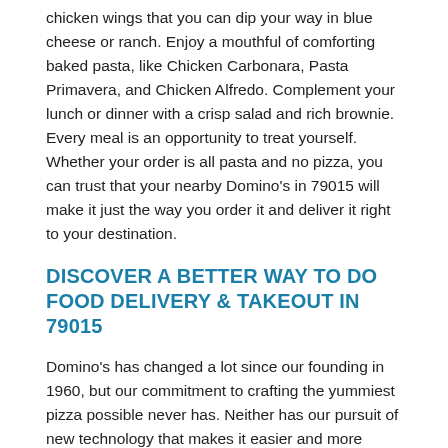chicken wings that you can dip your way in blue cheese or ranch. Enjoy a mouthful of comforting baked pasta, like Chicken Carbonara, Pasta Primavera, and Chicken Alfredo. Complement your lunch or dinner with a crisp salad and rich brownie. Every meal is an opportunity to treat yourself. Whether your order is all pasta and no pizza, you can trust that your nearby Domino's in 79015 will make it just the way you order it and deliver it right to your destination.
DISCOVER A BETTER WAY TO DO FOOD DELIVERY & TAKEOUT IN 79015
Domino's has changed a lot since our founding in 1960, but our commitment to crafting the yummiest pizza possible never has. Neither has our pursuit of new technology that makes it easier and more convenient for you to have food delivered when and where you want. First, there's the Domino's Tracker®. It lets you follow your pizza from the moment it's being made to when it goes out with one of your local store's delivery drivers. There's also Domino's Hotspots®, so you can finally have Domino's sandwiches, pizza, pasta, chicken, and more dropped off